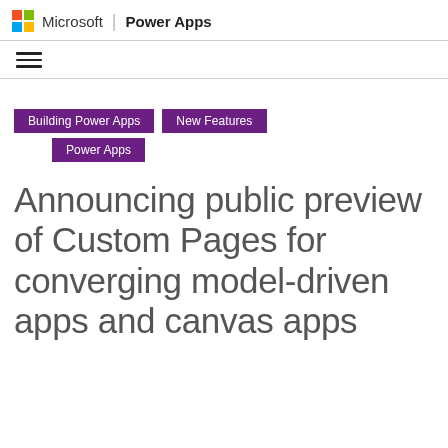Microsoft | Power Apps
[Figure (logo): Microsoft colorful four-square logo followed by 'Microsoft' text, a vertical separator bar, and bold 'Power Apps' text]
[Figure (other): Hamburger menu icon (three horizontal lines)]
Building Power Apps
New Features
Power Apps
Announcing public preview of Custom Pages for converging model-driven apps and canvas apps